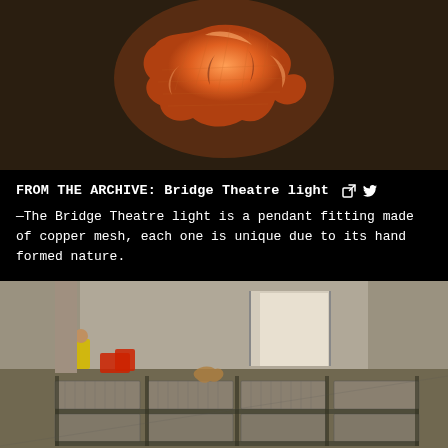[Figure (photo): Close-up photograph of a copper mesh pendant light fitting against a dark background, glowing orange-brown.]
FROM THE ARCHIVE: Bridge Theatre light
—The Bridge Theatre light is a pendant fitting made of copper mesh, each one is unique due to its hand formed nature.
[Figure (photo): Construction site interior showing concrete panels/slabs laid out on a floor, with concrete walls and a dog visible in the background, along with red safety barriers and a worker.]